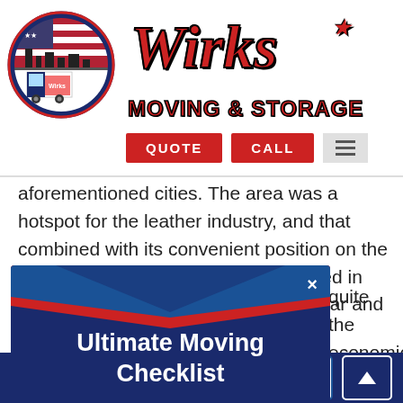[Figure (logo): Wirks Moving & Storage logo: circular badge with American flag and moving truck on left; stylized red italic 'Wirks' script with star and 'MOVING & STORAGE' text in red/black on right]
aforementioned cities. The area was a hotspot for the leather industry, and that combined with its convenient position on the rail lines meant the population boomed in the early 1900s. With the rise of the car and the fall of [obscured] quite the economic [obscured] h century, and now [obscured] with diverse but [obscured] ny notable people [obscured] i-retired professional [obscured] d Panic guitarist
[Figure (infographic): Popup modal overlay with dark blue background, red and blue chevron/arrow decorations top and bottom, white text 'Ultimate Moving Checklist', red rounded button 'FREE DOWNLOAD!', and X close button]